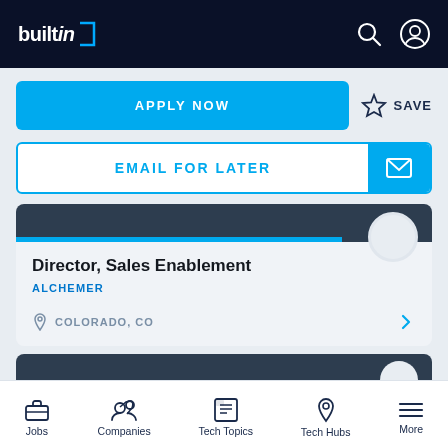builtin
APPLY NOW
SAVE
EMAIL FOR LATER
Director, Sales Enablement
ALCHEMER
COLORADO, CO
SALES
Jobs | Companies | Tech Topics | Tech Hubs | More